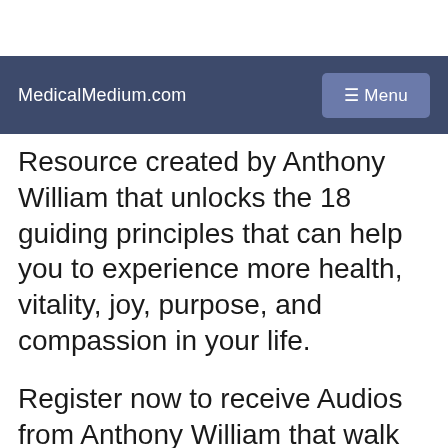MedicalMedium.com  ☰ Menu
Resource created by Anthony William that unlocks the 18 guiding principles that can help you to experience more health, vitality, joy, purpose, and compassion in your life.
Register now to receive Audios from Anthony William that walk you through each step, answers to Frequently Asked Questions, healing recipes, and much